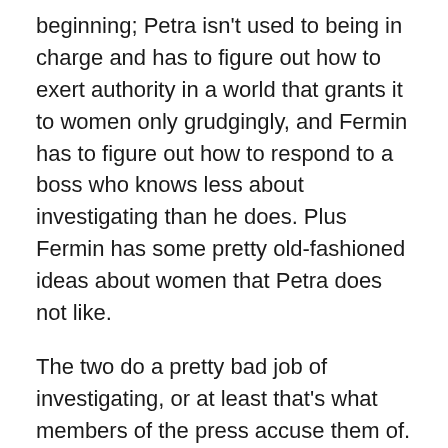beginning; Petra isn't used to being in charge and has to figure out how to exert authority in a world that grants it to women only grudgingly, and Fermin has to figure out how to respond to a boss who knows less about investigating than he does. Plus Fermin has some pretty old-fashioned ideas about women that Petra does not like.
The two do a pretty bad job of investigating, or at least that's what members of the press accuse them of. They have no good leads for a very long time and spend a surprisingly long period floundering about desperately looking for some kind of breakthrough. I'm not entirely convinced that they are bad investigators, though, or at least that they are bad as people think they are. They do make some mistakes, but they are rookies, after all. But even more so, I wonder whether this portrayal of an investigation isn't more realistic than investigations often